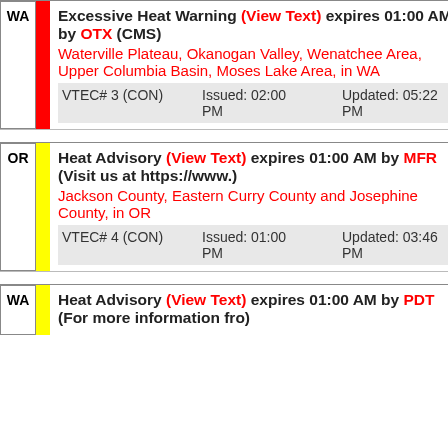WA | Excessive Heat Warning (View Text) expires 01:00 AM by OTX (CMS) Waterville Plateau, Okanogan Valley, Wenatchee Area, Upper Columbia Basin, Moses Lake Area, in WA VTEC# 3 (CON) Issued: 02:00 PM Updated: 05:22 PM
OR | Heat Advisory (View Text) expires 01:00 AM by MFR (Visit us at https://www.) Jackson County, Eastern Curry County and Josephine County, in OR VTEC# 4 (CON) Issued: 01:00 PM Updated: 03:46 PM
WA | Heat Advisory (View Text) expires 01:00 AM by PDT (For more information fro)